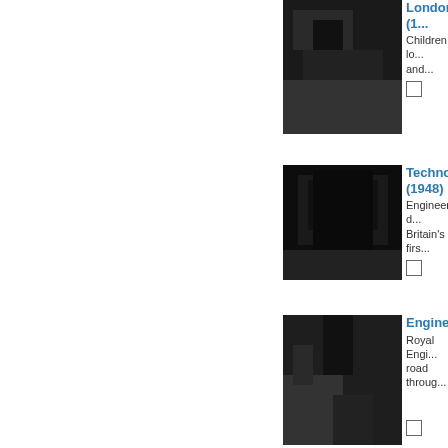[Figure (photo): Black and white photo, partially visible at top - London item]
London (1...
Children lo... and...
[Figure (photo): Black and white photo of a dark building - Technology (1948)]
Technolog... (1948)
Engineers d... Britain's firs...
[Figure (photo): Black and white photo of road through trees - Engineers item]
Engineers...
Royal Engi... road throug...
[Figure (photo): Black and white photo of people - Japs Make item]
Japs Make...
A look at w... engine to b...
[Figure (photo): Black and white photo partially visible at bottom - Transport item]
Transport...